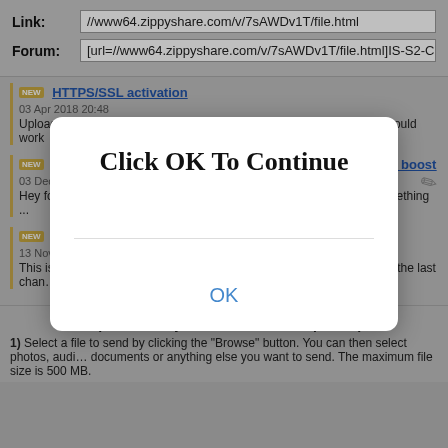Link: //www64.zippyshare.com/v/7sAWDv1T/file.html
Forum: [url=//www64.zippyshare.com/v/7sAWDv1T/file.html]IS-S2-C
HTTPS/SSL activation
03 Apr 2018 20:48
Upload/Download has been moved to the https protocol. Everything should work
ZippyUploader update, a step closer to the performance boost
03 Dec 2017 23:08
Hey folks. <strong>A quick update:</strong> Today a new version (0.0.16.0) of th… something...
500MB - We just increased the file size limit
13 Nov 2017 00:08
This is probably a long-awaited update, but I assure you that this is not the last chan… Cheers! ...
[Figure (screenshot): Modal dialog box with text 'Click OK To Continue' and an OK button]
To upload a file just follow these simple steps:
1) Select a file to send by clicking the "Browse" button. You can then select photos, audi… documents or anything else you want to send. The maximum file size is 500 MB.